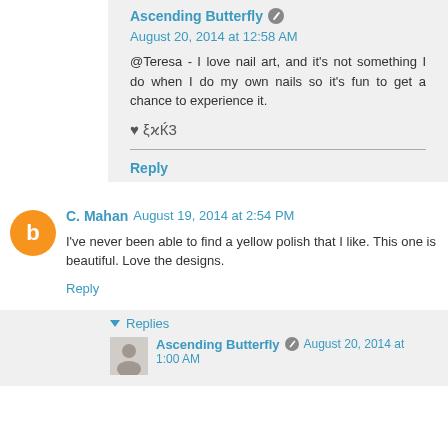Ascending Butterfly  August 20, 2014 at 12:58 AM
@Teresa - I love nail art, and it's not something I do when I do my own nails so it's fun to get a chance to experience it.
♥ ξϰЌ3
Reply
C. Mahan  August 19, 2014 at 2:54 PM
I've never been able to find a yellow polish that I like. This one is beautiful. Love the designs.
Reply
▼ Replies
Ascending Butterfly  August 20, 2014 at 1:00 AM